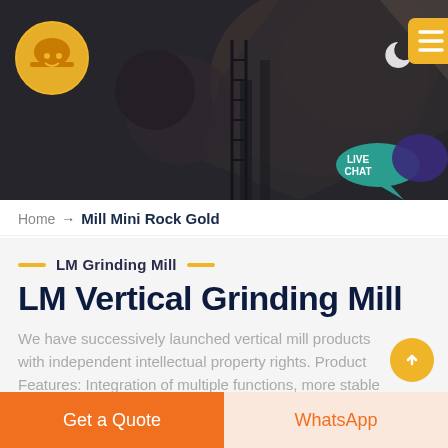[Figure (screenshot): Website header hero image showing industrial mining equipment/rock crusher machinery with dark overlay. Contains orange hard-hat logo on left, moon icon and yellow hamburger menu button on top right, and a teal 'LIVE CHAT' speech bubble on bottom right.]
Home → Mill Mini Rock Gold
LM Grinding Mill
LM Vertical Grinding Mill
We have successively launched vertical mill products with independent intellectual property rights. Product Features: Integration of multiple functions, more stable and reliable
Get a Quote
WhatsApp